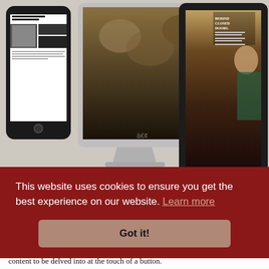[Figure (screenshot): Three devices showing a digital magazine edition: a smartphone on the left displaying a magazine spread titled 'Eye of the Beholder', an iMac desktop computer in the center showing a nature/art image, and an iPad on the right showing a magazine cover with 'Behind Closed Doors' headline and a Renaissance-style portrait painting.]
The Digital Edition
This website uses cookies to ensure you get the best experience on our website. Learn more
Got it!
content to be delved into at the touch of a button.